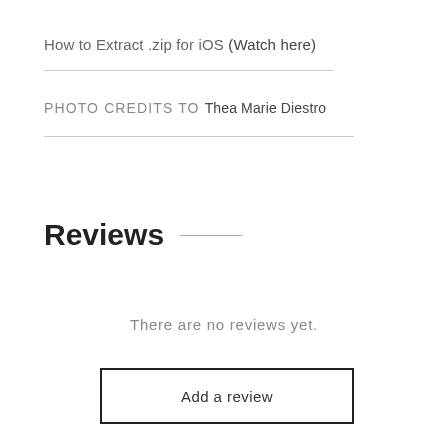How to Extract .zip for iOS (Watch here)
PHOTO CREDITS TO Thea Marie Diestro
Reviews
There are no reviews yet.
Add a review